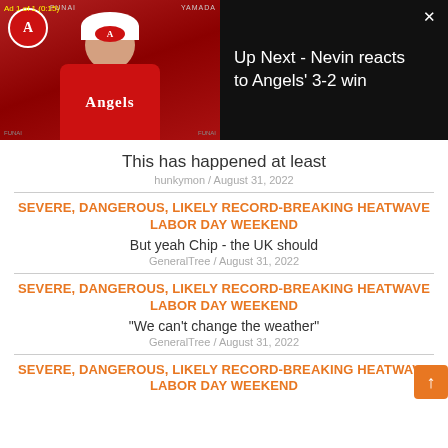[Figure (screenshot): Video player thumbnail showing a baseball manager in Angels uniform, with ad overlay 'Ad 1 of 1 (0:15)' and 'Up Next - Nevin reacts to Angels' 3-2 win' text on black background with X close button]
This has happened at least
hunkymon / August 31, 2022
SEVERE, DANGEROUS, LIKELY RECORD-BREAKING HEATWAVE LABOR DAY WEEKEND
But yeah Chip - the UK should
GeneralTree / August 31, 2022
SEVERE, DANGEROUS, LIKELY RECORD-BREAKING HEATWAVE LABOR DAY WEEKEND
"We can't change the weather"
GeneralTree / August 31, 2022
SEVERE, DANGEROUS, LIKELY RECORD-BREAKING HEATWAVE LABOR DAY WEEKEND